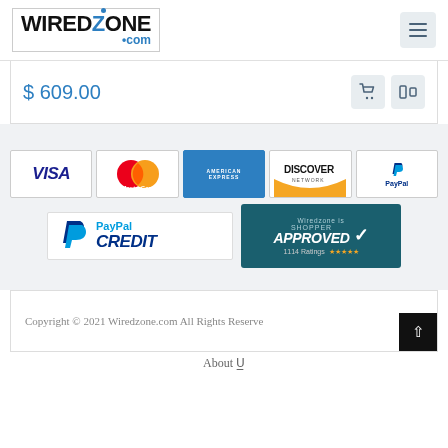[Figure (logo): Wiredzone.com logo in black and blue with navigation hamburger menu icon]
$ 609.00
[Figure (infographic): Payment method badges: Visa, MasterCard, American Express, Discover Network, PayPal, PayPal Credit, and Wiredzone is Shopper Approved with 1114 Ratings and 5 stars]
Copyright © 2021 Wiredzone.com All Rights Reserve
About U...